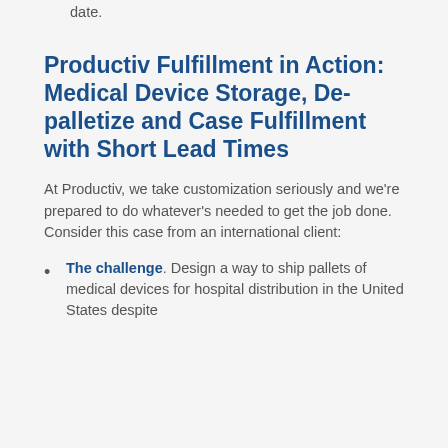date.
Productiv Fulfillment in Action: Medical Device Storage, De-palletize and Case Fulfillment with Short Lead Times
At Productiv, we take customization seriously and we're prepared to do whatever's needed to get the job done. Consider this case from an international client:
The challenge. Design a way to ship pallets of medical devices for hospital distribution in the United States despite